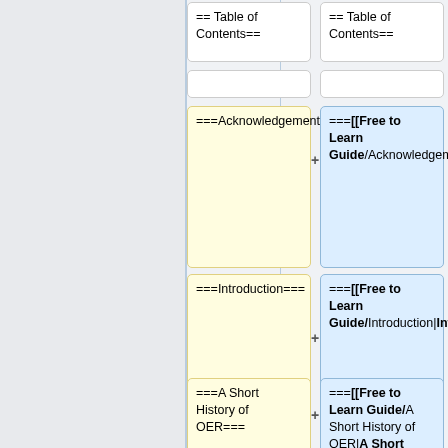[Figure (other): Diff comparison view showing wiki markup changes side by side. Left column shows original markup, right column shows replacement markup with wikilinks. Rows show: Table of Contents header (neutral), blank rows, Acknowledgements section header (removed/added with link), Introduction section header (removed/added with link), A Short History of OER section header (removed/added with link).]